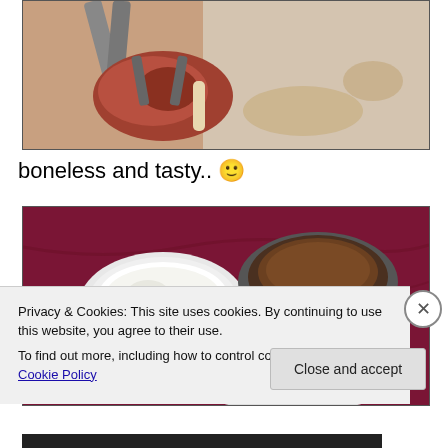[Figure (photo): Close-up photo of meat being held with tongs, appears to be cooked/grilled meat piece]
boneless and tasty..  🙂
[Figure (photo): Photo of food dishes on a dark red/maroon cloth — a bowl of white raita, a bowl of brown curry/gravy, and a plate with biryani or rice dish]
Privacy & Cookies: This site uses cookies. By continuing to use this website, you agree to their use.
To find out more, including how to control cookies, see here: Cookie Policy
Close and accept